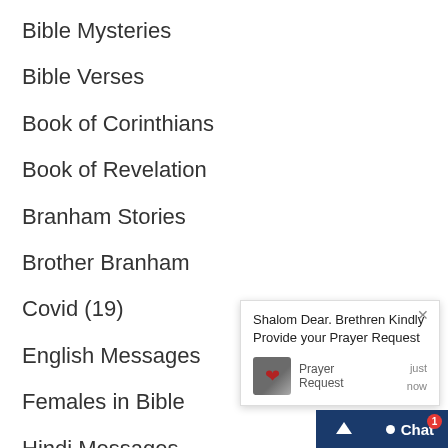Bible Mysteries
Bible Verses
Book of Corinthians
Book of Revelation
Branham Stories
Brother Branham
Covid (19)
English Messages
Females in Bible
Hindi Messages
Holy Places
Holy Songs Lyrics
Ministers
[Figure (screenshot): Chat popup widget showing 'Shalom Dear. Brethren Kindly Provide your Prayer Request' message with a Prayer Request notification and a Chat button with badge showing 1 unread message.]